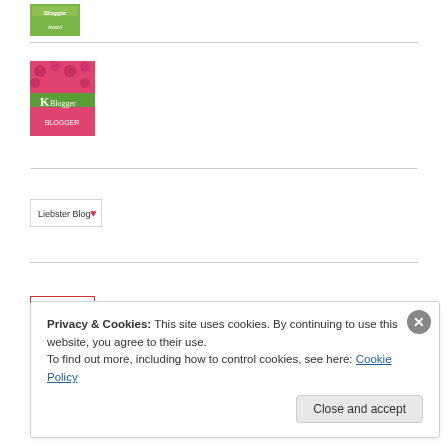[Figure (logo): Green blogger badge with text on green background]
[Figure (logo): Pink floral K Blogger badge with green stripe and text]
[Figure (logo): Liebster Blog badge with heart icon, white background with border]
[Figure (logo): abc word badge with colored letters in red border frame]
Privacy & Cookies: This site uses cookies. By continuing to use this website, you agree to their use.
To find out more, including how to control cookies, see here: Cookie Policy
Close and accept